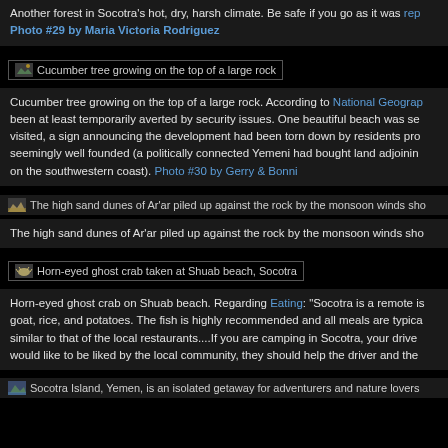Another forest in Socotra's hot, dry, harsh climate. Be safe if you go as it was rep... Photo #29 by Maria Victoria Rodriguez
[Figure (photo): Thumbnail icon for: Cucumber tree growing on the top of a large rock]
Cucumber tree growing on the top of a large rock. According to National Geograph... been at least temporarily averted by security issues. One beautiful beach was se... visited, a sign announcing the development had been torn down by residents pro... seemingly well founded (a politically connected Yemeni had bought land adjoinin... on the southwestern coast). Photo #30 by Gerry & Bonni
[Figure (photo): Thumbnail icon for: The high sand dunes of Ar'ar piled up against the rock by the monsoon winds sho...]
The high sand dunes of Ar'ar piled up against the rock by the monsoon winds sho...
[Figure (photo): Thumbnail icon for: Horn-eyed ghost crab taken at Shuab beach, Socotra]
Horn-eyed ghost crab on Shuab beach. Regarding Eating: "Socotra is a remote is... goat, rice, and potatoes. The fish is highly recommended and all meals are typica... similar to that of the local restaurants....If you are camping in Socotra, your drive... would like to be liked by the local community, they should help the driver and the...
[Figure (photo): Thumbnail icon for: Socotra Island, Yemen, is an isolated getaway for adventurers and nature lovers...]